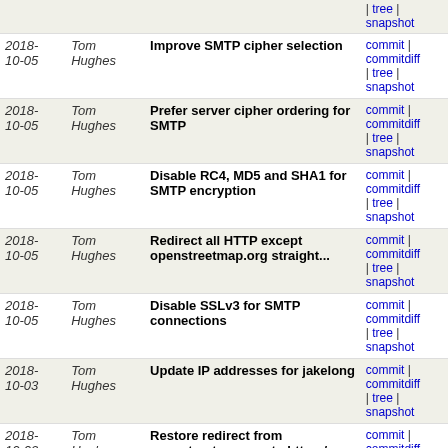| Date | Author | Message | Links |
| --- | --- | --- | --- |
|  |  |  | tree | snapshot |
| 2018-10-05 | Tom Hughes | Improve SMTP cipher selection | commit | commitdiff | tree | snapshot |
| 2018-10-05 | Tom Hughes | Prefer server cipher ordering for SMTP | commit | commitdiff | tree | snapshot |
| 2018-10-05 | Tom Hughes | Disable RC4, MD5 and SHA1 for SMTP encryption | commit | commitdiff | tree | snapshot |
| 2018-10-05 | Tom Hughes | Redirect all HTTP except openstreetmap.org straight... | commit | commitdiff | tree | snapshot |
| 2018-10-05 | Tom Hughes | Disable SSLv3 for SMTP connections | commit | commitdiff | tree | snapshot |
| 2018-10-03 | Tom Hughes | Update IP addresses for jakelong | commit | commitdiff | tree | snapshot |
| 2018-10-02 | Tom Hughes | Restore redirect from openstreetmap.org to https:/... | commit | commitdiff | tree | snapshot |
| 2018-10-01 | Tom Hughes | Don't configure a flood_stage watermark for elasticsear... | commit | commitdiff | tree | snapshot |
| 2018-10-01 | Tom Hughes | Use java 8 for logstash | commit | commitdiff | tree | snapshot |
| 2018-10-01 | Tom Hughes | Update elasticsearch configuraiton for 6.x | commit | commitdiff | tree | snapshot |